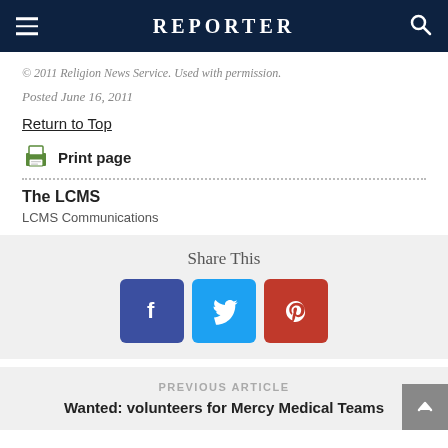REPORTER
© 2011 Religion News Service. Used with permission.
Posted June 16, 2011
Return to Top
Print page
The LCMS
LCMS Communications
Share This
PREVIOUS ARTICLE
Wanted: volunteers for Mercy Medical Teams